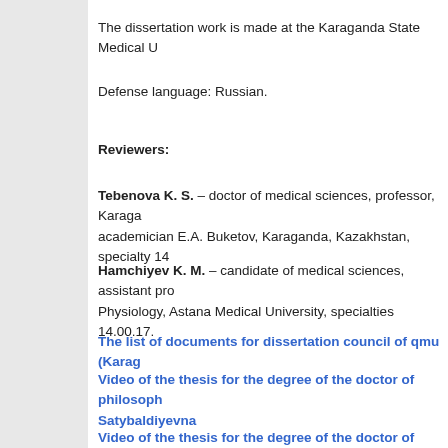The dissertation work is made at the Karaganda State Medical U
Defense language: Russian.
Reviewers:
Tebenova K. S. – doctor of medical sciences, professor, Karaga academician E.A. Buketov, Karaganda, Kazakhstan, specialty 14
Hamchiyev K. M. – candidate of medical sciences, assistant pro Physiology, Astana Medical University, specialties 14.00.17.
The list of documents for dissertation council of qmu (Karag
Video of the thesis for the degree of the doctor of philosoph Satybaldiyevna
Video of the thesis for the degree of the doctor of philosoph Satybaldiyevna
Scientific consultants:
Victor P. Ricklefs, Director of Clinical Skills Center of Karagand medical sciences.